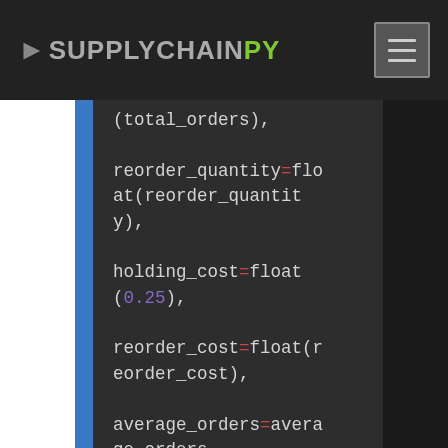SUPPLYCHAINPY (logo/nav bar)
[Figure (screenshot): Python code snippet showing keyword arguments: (total_orders), reorder_quantity=float(reorder_quantity), holding_cost=float(0.25), reorder_cost=float(reorder_cost), average_orders=average_orders, unit_cost=float(unit_cost))]